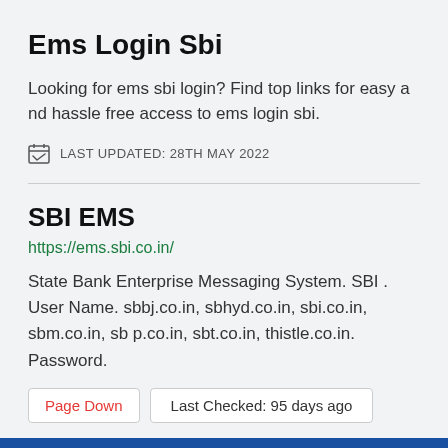Ems Login Sbi
Looking for ems sbi login? Find top links for easy and hassle free access to ems login sbi.
LAST UPDATED: 28TH MAY 2022
SBI EMS
https://ems.sbi.co.in/
State Bank Enterprise Messaging System. SBI . User Name. sbbj.co.in, sbhyd.co.in, sbi.co.in, sbm.co.in, sbp.co.in, sbt.co.in, thistle.co.in. Password.
Page Down | Last Checked: 95 days ago